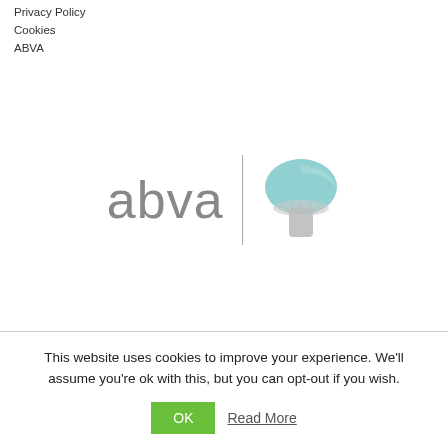Privacy Policy
Cookies
ABVA
[Figure (logo): ABVA logo with wordmark 'abva' in gray and a stylized mushroom icon in teal and gray, separated by a vertical line]
This website uses cookies to improve your experience. We'll assume you're ok with this, but you can opt-out if you wish.
OK   Read More